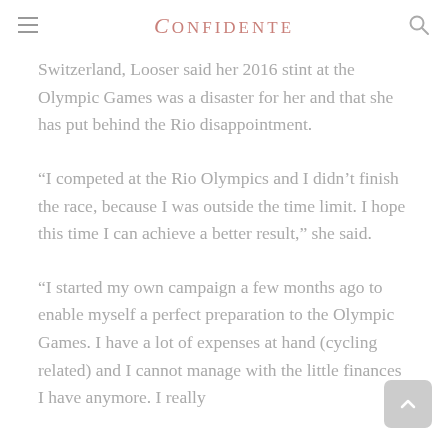CONFIDENTE
Switzerland, Looser said her 2016 stint at the Olympic Games was a disaster for her and that she has put behind the Rio disappointment.
“I competed at the Rio Olympics and I didn’t finish the race, because I was outside the time limit. I hope this time I can achieve a better result,” she said.
“I started my own campaign a few months ago to enable myself a perfect preparation to the Olympic Games. I have a lot of expenses at hand (cycling related) and I cannot manage with the little finances I have anymore. I really